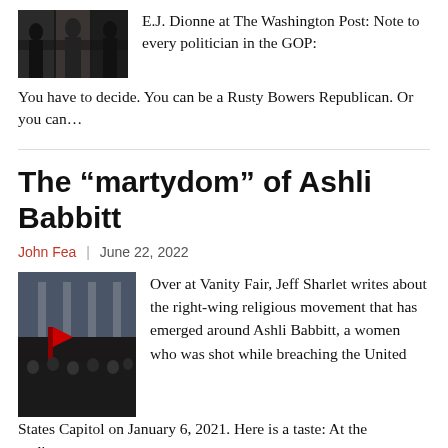[Figure (photo): Thumbnail photo of people, partially visible at top of page]
E.J. Dionne at The Washington Post: Note to every politician in the GOP: You have to decide. You can be a Rusty Bowers Republican. Or you can...
The “martydom” of Ashli Babbitt
John Fea | June 22, 2022
[Figure (photo): Photo of crowd at the US Capitol with flags and banners including 2020 flag]
Over at Vanity Fair, Jeff Sharlet writes about the right-wing religious movement that has emerged around Ashli Babbitt, a women who was shot while breaching the United States Capitol on January 6, 2021. Here is a taste: At the podium...